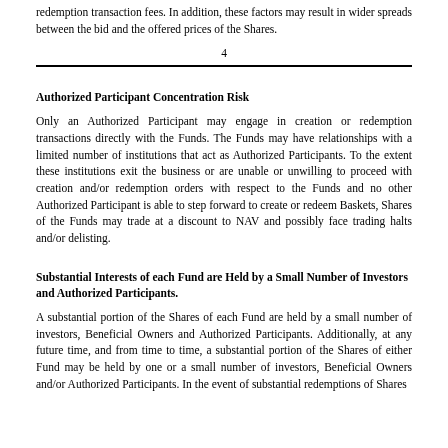redemption transaction fees. In addition, these factors may result in wider spreads between the bid and the offered prices of the Shares.
4
Authorized Participant Concentration Risk
Only an Authorized Participant may engage in creation or redemption transactions directly with the Funds. The Funds may have relationships with a limited number of institutions that act as Authorized Participants. To the extent these institutions exit the business or are unable or unwilling to proceed with creation and/or redemption orders with respect to the Funds and no other Authorized Participant is able to step forward to create or redeem Baskets, Shares of the Funds may trade at a discount to NAV and possibly face trading halts and/or delisting.
Substantial Interests of each Fund are Held by a Small Number of Investors and Authorized Participants.
A substantial portion of the Shares of each Fund are held by a small number of investors, Beneficial Owners and Authorized Participants. Additionally, at any future time, and from time to time, a substantial portion of the Shares of either Fund may be held by one or a small number of investors, Beneficial Owners and/or Authorized Participants. In the event of substantial redemptions of Shares